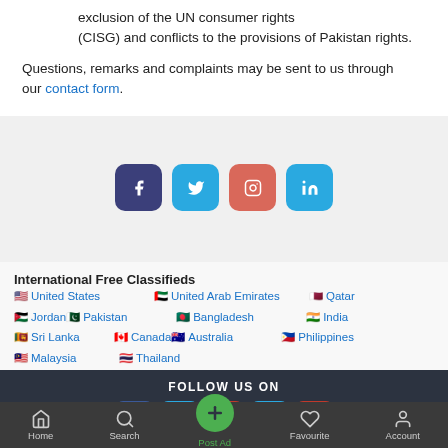... exclusion of the UN consumer rights (CISG) and conflicts to the provisions of Pakistan rights.
Questions, remarks and complaints may be sent to us through our contact form.
[Figure (other): Social media icon buttons: Facebook (dark blue), Twitter (blue), Instagram (red/salmon), LinkedIn (blue)]
International Free Classifieds
United States  United Arab Emirates  Qatar  Jordan  Pakistan  Bangladesh  India  Sri Lanka  Canada  Australia  Philippines  Malaysia  Thailand
FOLLOW US ON
[Figure (other): Social media icon buttons in footer: Facebook, Twitter, Instagram, LinkedIn, YouTube]
Home  Search  Post Ad  Favourite  Account